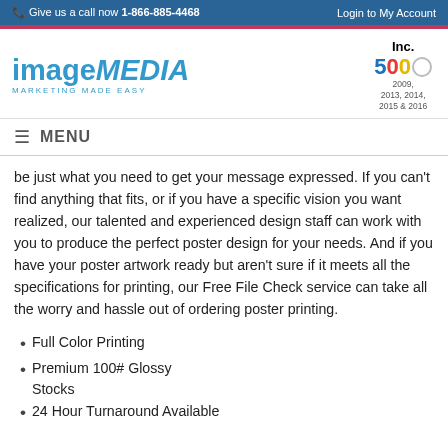Give us a call now 1-866-885-4468   Login to My Account
[Figure (logo): imageMEDIA MARKETING MADE EASY logo in blue]
[Figure (logo): Inc. 500 badge for 2009, 2013, 2014, 2015 & 2016]
MENU
be just what you need to get your message expressed. If you can't find anything that fits, or if you have a specific vision you want realized, our talented and experienced design staff can work with you to produce the perfect poster design for your needs. And if you have your poster artwork ready but aren't sure if it meets all the specifications for printing, our Free File Check service can take all the worry and hassle out of ordering poster printing.
Full Color Printing
Premium 100# Glossy Stocks
24 Hour Turnaround Available